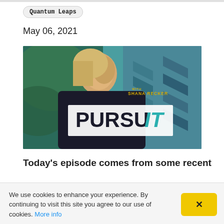Quantum Leaps
May 06, 2021
[Figure (photo): Podcast cover image for 'PURSUIT with Shana Recker' — a smiling blonde woman in a dark jacket against a colorful teal mural wall with chevron patterns; the word PURSUIT in bold teal/dark text with IT in italic occupies the lower center; 'WITH SHANA RECKER' in small gold caps appears in the upper right area.]
Today's episode comes from some recent
We use cookies to enhance your experience. By continuing to visit this site you agree to our use of cookies. More info